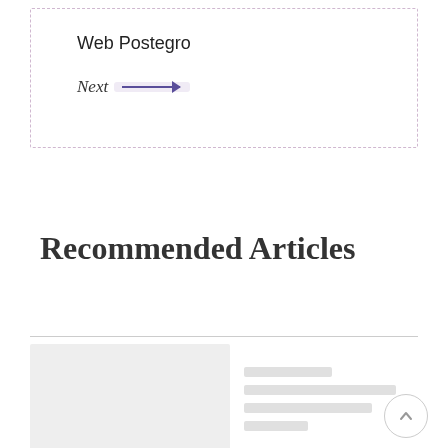Web Postegro
Next →
Recommended Articles
[Figure (other): Article card placeholder with grey image thumbnail on left and grey text line placeholders on right]